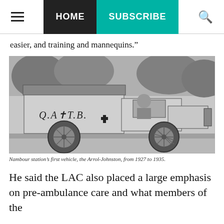HOME | SUBSCRIBE
easier, and training and mannequins.”
[Figure (photo): Black and white photograph of the Nambour station's first vehicle, the Arrol-Johnston ambulance car, with 'Q.A.T.B.' written on its side and a cross emblem, from 1927 to 1935.]
Nambour station’s first vehicle, the Arrol-Johnston, from 1927 to 1935.
He said the LAC also placed a large emphasis on pre-ambulance care and what members of the community could do...